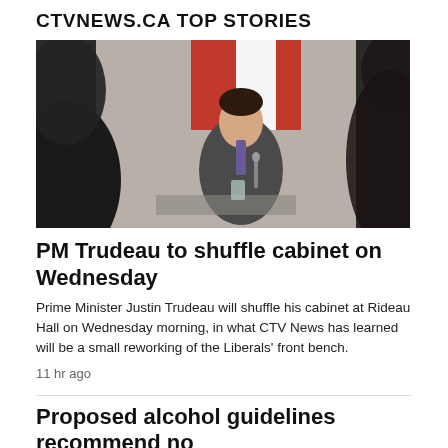CTVNEWS.CA TOP STORIES
[Figure (photo): Prime Minister Justin Trudeau seated at a table speaking, with a Canadian flag in the background, photographed from behind other people in the foreground.]
PM Trudeau to shuffle cabinet on Wednesday
Prime Minister Justin Trudeau will shuffle his cabinet at Rideau Hall on Wednesday morning, in what CTV News has learned will be a small reworking of the Liberals' front bench.
11 hr ago
Proposed alcohol guidelines recommend no